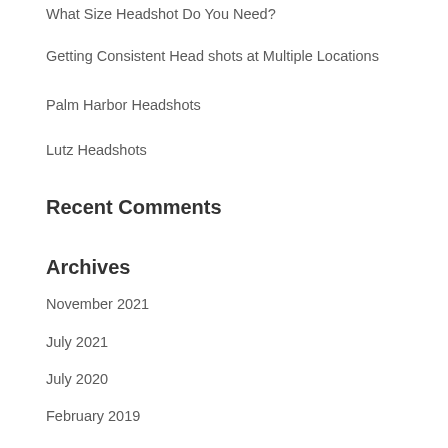What Size Headshot Do You Need?
Getting Consistent Head shots at Multiple Locations
Palm Harbor Headshots
Lutz Headshots
Recent Comments
Archives
November 2021
July 2021
July 2020
February 2019
January 2019
December 2018
August 2018